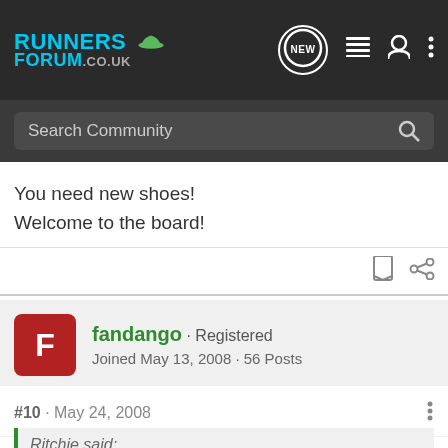Runners Forum .co.uk — Search Community
You need new shoes!
Welcome to the board!
fandango · Registered
Joined May 13, 2008 · 56 Posts
#10 · May 24, 2008
Ritchie said: